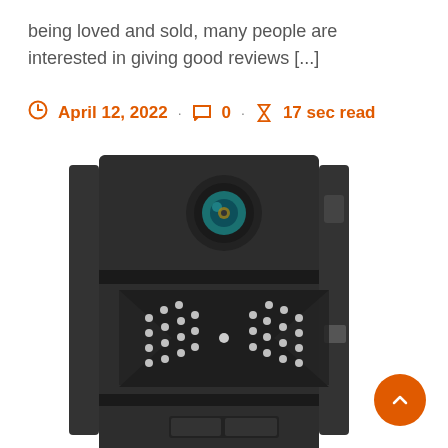being loved and sold, many people are interested in giving good reviews [...]
April 12, 2022 · 0 · 17 sec read
[Figure (photo): Close-up photo of a trail camera showing the lens at the top and an array of LED lights in a bow-tie pattern in the middle, with side buttons visible, all in black casing.]